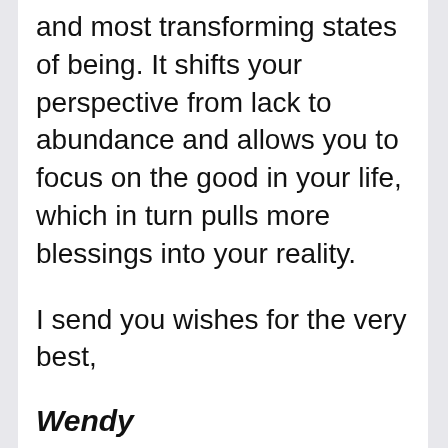and most transforming states of being. It shifts your perspective from lack to abundance and allows you to focus on the good in your life, which in turn pulls more blessings into your reality.
I send you wishes for the very best,
Wendy